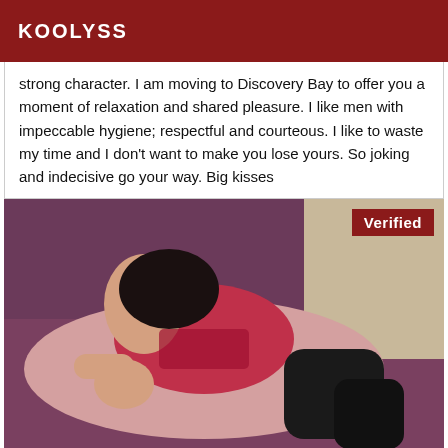KOOLYSS
strong character. I am moving to Discovery Bay to offer you a moment of relaxation and shared pleasure. I like men with impeccable hygiene; respectful and courteous. I like to waste my time and I don't want to make you lose yours. So joking and indecisive go your way. Big kisses
[Figure (photo): Person lying on a bed wearing red lingerie and black stockings, with a 'Verified' badge in the top right corner]